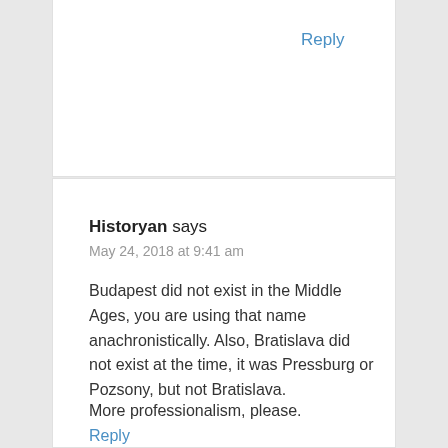Reply
Historyan says
May 24, 2018 at 9:41 am
Budapest did not exist in the Middle Ages, you are using that name anachronistically. Also, Bratislava did not exist at the time, it was Pressburg or Pozsony, but not Bratislava.
More professionalism, please.
Reply